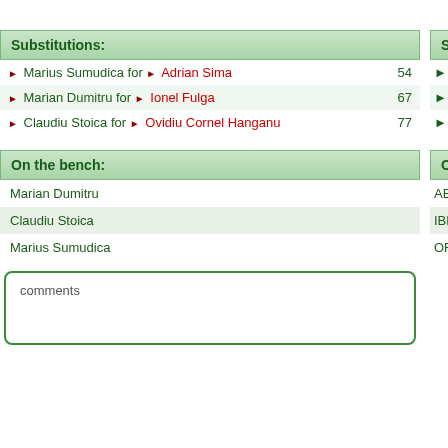Substitutions:
| Player | For | Minute |
| --- | --- | --- |
| Marius Sumudica | Adrian Sima | 54 |
| Marian Dumitru | Ionel Fulga | 67 |
| Claudiu Stoica | Ovidiu Cornel Hanganu | 77 |
On the bench:
| Player |
| --- |
| Marian Dumitru |
| Claudiu Stoica |
| Marius Sumudica |
comments